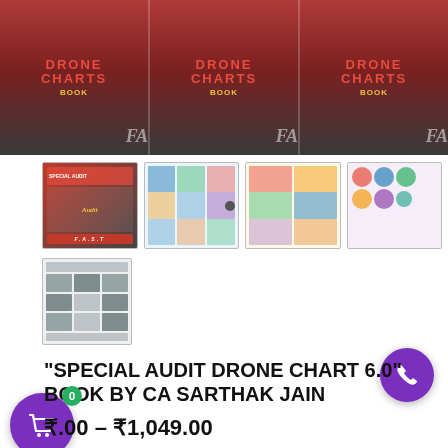[Figure (photo): Main banner showing book cover for 'Special Audit Drone Chart 6.0' by CA Sarthak Jain, displayed in three repeated segments with red and dark background, yellow stylized text and a figure in a suit.]
[Figure (photo): Row of four thumbnail images showing interior pages of the book — cover page, colorful table/chart pages with audit diagrams and infographics.]
[Figure (photo): Single thumbnail showing index/contents page of the book.]
“SPECIAL AUDIT DRONE CHART 6.0” BOOK BY CA SARTHAK JAIN
₹.00 – ₹1,049.00